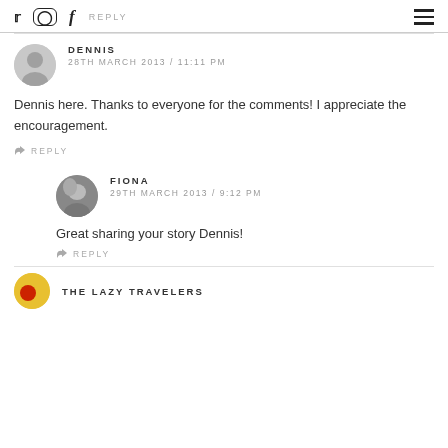REPLY
DENNIS
28TH MARCH 2013 / 11:11 PM
Dennis here. Thanks to everyone for the comments! I appreciate the encouragement.
REPLY
FIONA
29TH MARCH 2013 / 9:12 PM
Great sharing your story Dennis!
REPLY
THE LAZY TRAVELERS